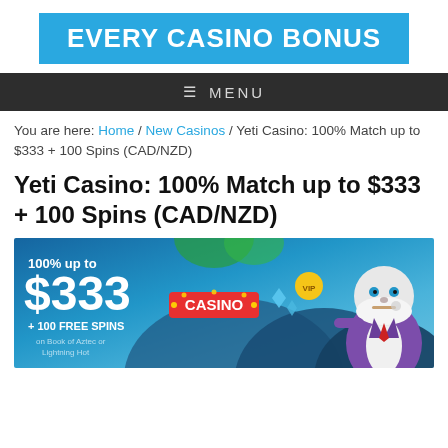[Figure (logo): Every Casino Bonus logo — white bold text on bright blue background]
≡  MENU
You are here: Home / New Casinos / Yeti Casino: 100% Match up to $333 + 100 Spins (CAD/NZD)
Yeti Casino: 100% Match up to $333 + 100 Spins (CAD/NZD)
[Figure (illustration): Yeti Casino promotional banner showing '100% up to $333 + 100 FREE SPINS on Book of Aztec or Lightning Hot', with a cartoon yeti character in a suit on the right and a Casino sign in the center, on a blue rocky background]